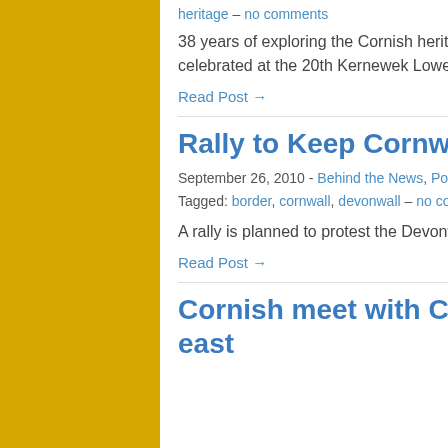heritage  –  no comments
38 years of exploring the Cornish heritage on the North Yorke Peninsular in Australia will next be celebrated at the 20th Kernewek Lowender in May 2011
Read Post →
Rally to Keep Cornwall Whole!
September 26, 2010  -  Behind the News, Politics  -  Tagged:  border, cornwall, devonwall  –  no comments
A rally is planned to protest the Devonwall constituency.
Read Post →
Cornish meet with Celtic cousins on Australia's east